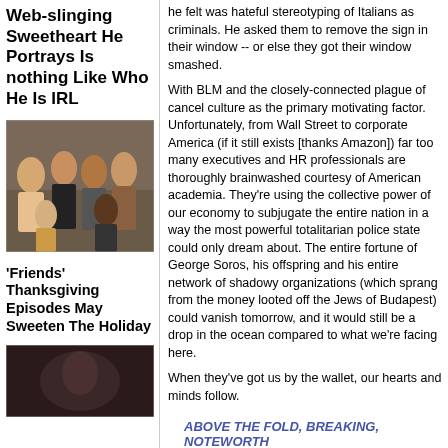Web-slinging Sweetheart He Portrays Is nothing Like Who He Is IRL
[Figure (photo): Group photo of Friends TV show cast members standing together in what appears to be a set]
'Friends' Thanksgiving Episodes May Sweeten The Holiday
[Figure (photo): Dark partial image at bottom of left column]
he felt was hateful stereotyping of Italians as criminals. He asked them to remove the sign in their window -- or else they got their window smashed.
With BLM and the closely-connected plague of cancel culture as the primary motivating factor. Unfortunately, from Wall Street to corporate America (if it still exists [thanks Amazon]) far too many executives and HR professionals are thoroughly brainwashed courtesy of American academia. They're using the collective power of our economy to subjugate the entire nation in a way the most powerful totalitarian police state could only dream about. The entire fortune of George Soros, his offspring and his entire network of shadowy organizations (which sprang from the money looted off the Jews of Budapest) could vanish tomorrow, and it would still be a drop in the ocean compared to what we're facing here.
When they've got us by the wallet, our hearts and minds follow.
ABOVE THE FOLD, BREAKING, NOTEWORTHY
"Programming AI to eliminate unapproved info... Big Media and Big Tech Collude to Control The...
"It's unclear how such a scheme would play with...sort of ambitious, nationwide [Chinese] COVID...threatens to exclude far more Americans from p...laws, which progressives have decried as the 'ne... Chinese COVID Tracking Apps Have Eerie Ech...
"Chinese propaganda and espionage operations...fomenting the problems the Chinese then use to...regime." China Mocks America for Black Lives Matter R...
"In an unsigned order issued with no comment...